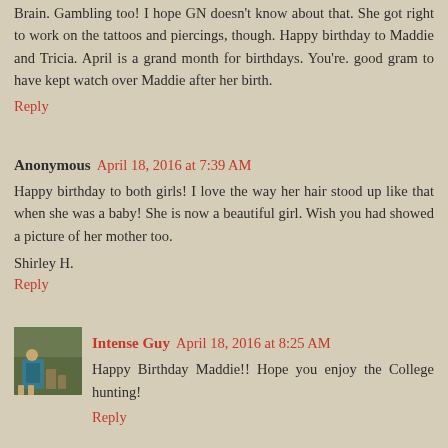Brain. Gambling too! I hope GN doesn't know about that. She got right to work on the tattoos and piercings, though. Happy birthday to Maddie and Tricia. April is a grand month for birthdays. You're. good gram to have kept watch over Maddie after her birth.
Reply
Anonymous  April 18, 2016 at 7:39 AM
Happy birthday to both girls! I love the way her hair stood up like that when she was a baby! She is now a beautiful girl. Wish you had showed a picture of her mother too.
Shirley H.
Reply
Intense Guy  April 18, 2016 at 8:25 AM
Happy Birthday Maddie!! Hope you enjoy the College hunting!
Reply